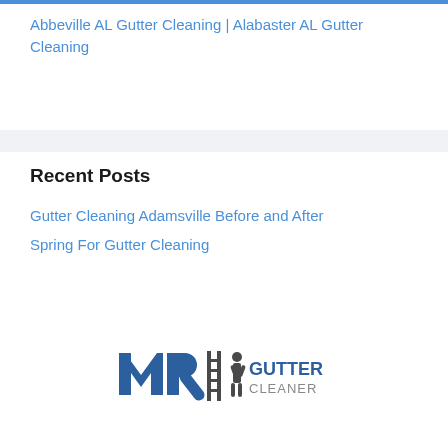Abbeville AL Gutter Cleaning | Alabaster AL Gutter Cleaning
Recent Posts
Gutter Cleaning Adamsville Before and After
Spring For Gutter Cleaning
[Figure (logo): Mr Gutter Cleaner logo with stylized MR text, ladder and person icon, and GUTTER CLEANER text]